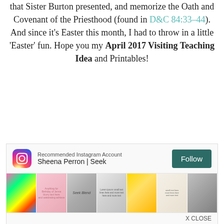that Sister Burton presented, and memorize the Oath and Covenant of the Priesthood (found in D&C 84:33–44). And since it's Easter this month, I had to throw in a little 'Easter' fun. Hope you my April 2017 Visiting Teaching Idea and Printables!
[Figure (screenshot): Instagram widget showing Recommended Instagram Account for Sheena Perron | Seek, with a Follow button and a row of thumbnail images from the account.]